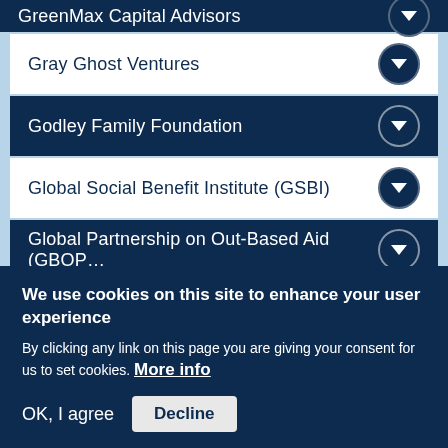GreenMax Capital Advisors (partial, top)
Gray Ghost Ventures
Godley Family Foundation
Global Social Benefit Institute (GSBI)
Global Partnership on Out-Based Aid (GBOP…
Global Innovation Fund
(partial row at bottom)
We use cookies on this site to enhance your user experience
By clicking any link on this page you are giving your consent for us to set cookies. More info
OK, I agree
Decline